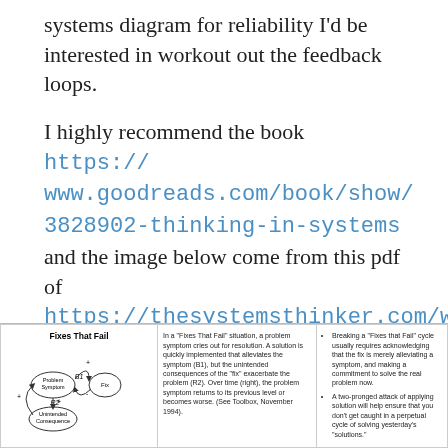systems diagram for reliability I'd be interested in workout out the feedback loops.
I highly recommend the book https://www.goodreads.com/book/show/3828902-thinking-in-systems and the image below come from this pdf of https://thesystemsthinker.com/wp-content/uploads/2016/03/Systems-Archetypes-I-TRSA01_pk.pdf.
[Figure (other): Fixes That Fail systems archetype diagram showing Problem Symptom, Fix, and Unintended Consequence feedback loops (B1 and R2), with explanatory text columns.]